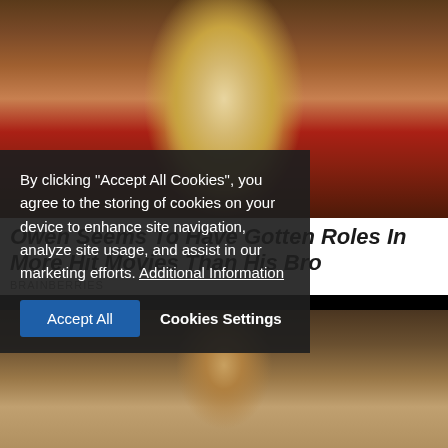[Figure (photo): Actor with blonde hair wearing a red jacket, looking surprised, in an indoor restaurant/cafe setting with framed pictures on wall behind]
Owen Seems To Have Gotten Roles In More Hit Movies Than His Bro
BRAINBERRIES
[Figure (photo): Dark-haired smiling man in a blue shirt at a public event with blurred crowd in background]
By clicking "Accept All Cookies", you agree to the storing of cookies on your device to enhance site navigation, analyze site usage, and assist in our marketing efforts. Additional Information
Accept All   Cookies Settings